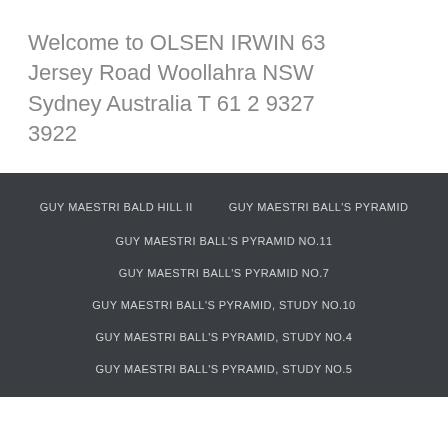Welcome to OLSEN IRWIN 63 Jersey Road Woollahra NSW Sydney Australia T 61 2 9327 3922
GUY MAESTRI BALD HILL II
GUY MAESTRI BALL'S PYRAMID
GUY MAESTRI BALL'S PYRAMID NO.11
GUY MAESTRI BALL'S PYRAMID NO.7
GUY MAESTRI BALL'S PYRAMID, STUDY NO.10
GUY MAESTRI BALL'S PYRAMID, STUDY NO.4
GUY MAESTRI BALL'S PYRAMID, STUDY NO.5